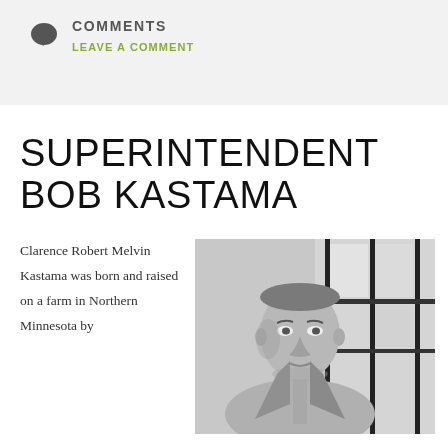COMMENTS
LEAVE A COMMENT
SUPERINTENDENT BOB KASTAMA
Clarence Robert Melvin Kastama was born and raised on a farm in Northern Minnesota by
[Figure (photo): Black and white photograph of a middle-aged man in a suit and tie, seated, with windows in the background]